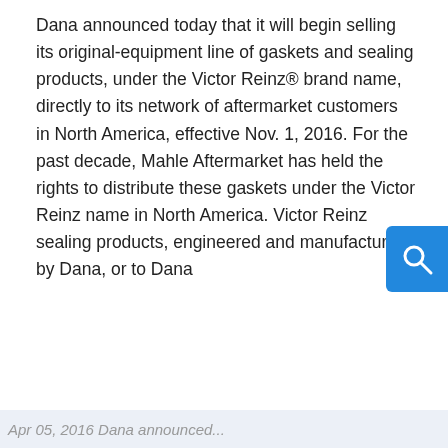Dana announced today that it will begin selling its original-equipment line of gaskets and sealing products, under the Victor Reinz® brand name, directly to its network of aftermarket customers in North America, effective Nov. 1, 2016. For the past decade, Mahle Aftermarket has held the rights to distribute these gaskets under the Victor Reinz name in North America. Victor Reinz sealing products, engineered and manufactured by Dana, or to Dana...
We use cookies and other technologies
This site uses cookies. By continuing to use this site, closing this banner, or clicking "I Agree", you agree to the use of cookies. Read our cookies policy and privacy statement for more information.
I agree
More information
Apr 05, 2016 Dana announced...